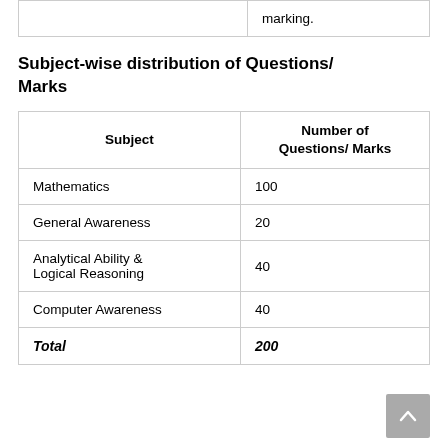|  |  |
| --- | --- |
|  | marking. |
Subject-wise distribution of Questions/ Marks
| Subject | Number of Questions/ Marks |
| --- | --- |
| Mathematics | 100 |
| General Awareness | 20 |
| Analytical Ability & Logical Reasoning | 40 |
| Computer Awareness | 40 |
| Total | 200 |